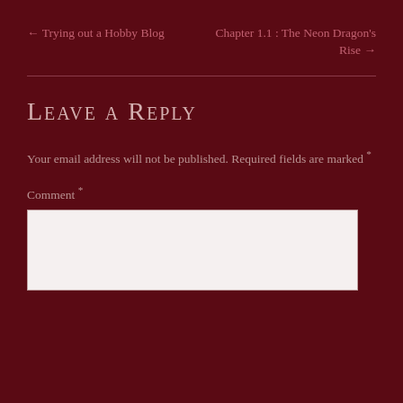← Trying out a Hobby Blog
Chapter 1.1 : The Neon Dragon's Rise →
Leave a Reply
Your email address will not be published. Required fields are marked *
Comment *